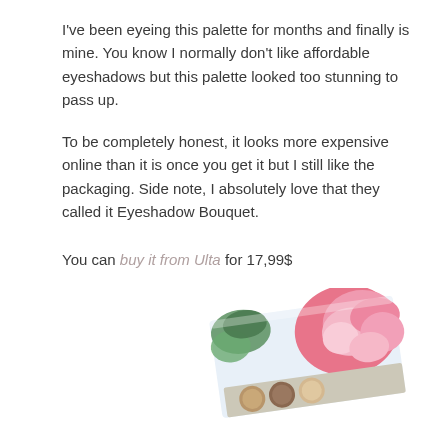I've been eyeing this palette for months and finally is mine. You know I normally don't like affordable eyeshadows but this palette looked too stunning to pass up.
To be completely honest, it looks more expensive online than it is once you get it but I still like the packaging. Side note, I absolutely love that they called it Eyeshadow Bouquet.
You can buy it from Ulta for 17,99$
[Figure (photo): A tilted eyeshadow palette with a floral design on the cover — pink roses and green leaves visible on the packaging, with circular eyeshadow pans visible at the bottom edge.]